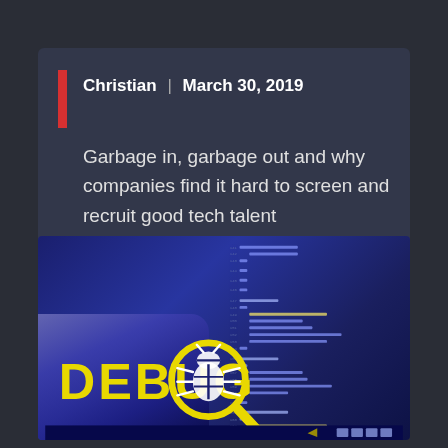Christian · March 30, 2019
Garbage in, garbage out and why companies find it hard to screen and recruit good tech talent
[Figure (photo): DEBUG graphic showing a magnifying glass over a bug icon with the word DEBUG in yellow text, overlaid on a blue-tinted background of laptop keyboard and code editor screen]